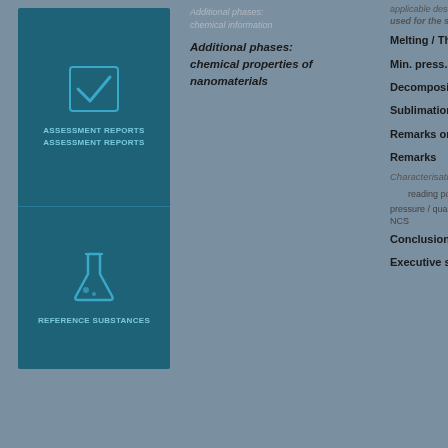[Figure (illustration): Teal box with checkmark icon and label 'Assessment Reports / Assessment Reports']
[Figure (illustration): Teal box with flask/beaker icon and label 'Reference substances']
Additional phases: chemical information
Additional phases: chemical properties of nanomaterials
Melting / Thermo
Min. press.
Decomposition
Sublimation
Remarks on none
Remarks
Characterisation
reading point
pressure / quality
NCS
Conclusions
Executive summ